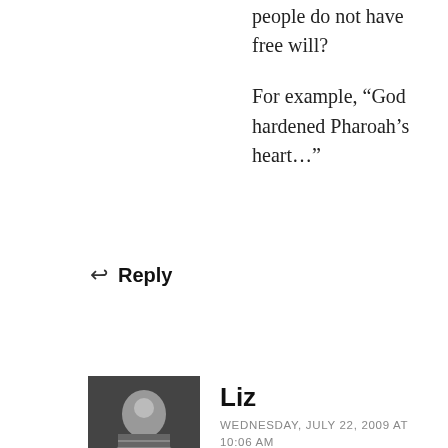people do not have free will?
For example, “God hardened Pharoah’s heart…”
↩ Reply
[Figure (photo): Black and white profile photo of a person named Liz]
Liz
WEDNESDAY, JULY 22, 2009 AT 10:06 AM
Eugene – Thank you for this post. I am so weary of the pat answers that Christians so often offer up in difficult situations. “Suffering…